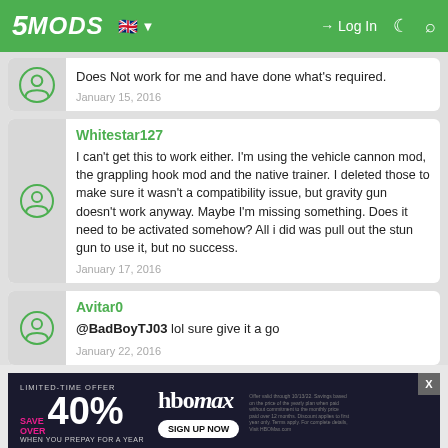5MODS — Log In
Does Not work for me and have done what's required.
January 15, 2016
Whitestar127
I can't get this to work either. I'm using the vehicle cannon mod, the grappling hook mod and the native trainer. I deleted those to make sure it wasn't a compatibility issue, but gravity gun doesn't work anyway. Maybe I'm missing something. Does it need to be activated somehow? All i did was pull out the stun gun to use it, but no success.
January 17, 2016
Avitar0
@BadBoyTJ03 lol sure give it a go
January 22, 2016
[Figure (screenshot): HBO Max advertisement banner: LIMITED-TIME OFFER SAVE OVER 40% WHEN YOU PREPAY FOR A YEAR, HBOmax logo, SIGN UP NOW button, fine print text.]